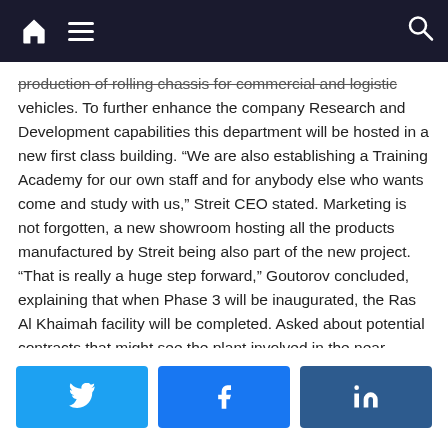Navigation bar with home icon, hamburger menu, and search icon
production of rolling chassis for commercial and logistic vehicles. To further enhance the company Research and Development capabilities this department will be hosted in a new first class building. “We are also establishing a Training Academy for our own staff and for anybody else who wants come and study with us,” Streit CEO stated. Marketing is not forgotten, a new showroom hosting all the products manufactured by Streit being also part of the new project. “That is really a huge step forward,” Goutorov concluded, explaining that when Phase 3 will be inaugurated, the Ras Al Khaimah facility will be completed. Asked about potential contracts that might see the plant involved in the near future, Goutorov expressed his optimism for a bid currently undergoing with Brazil.